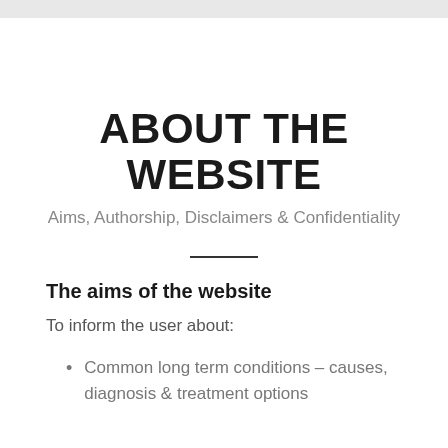ABOUT THE WEBSITE
Aims, Authorship, Disclaimers & Confidentiality
The aims of the website
To inform the user about:
Common long term conditions – causes, diagnosis & treatment options